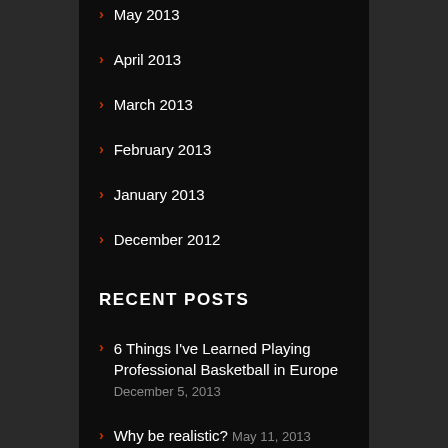May 2013
April 2013
March 2013
February 2013
January 2013
December 2012
RECENT POSTS
6 Things I've Learned Playing Professional Basketball in Europe  December 5, 2013
Why be realistic? May 11, 2013
The Benefits of Sled Training May 3, 2013